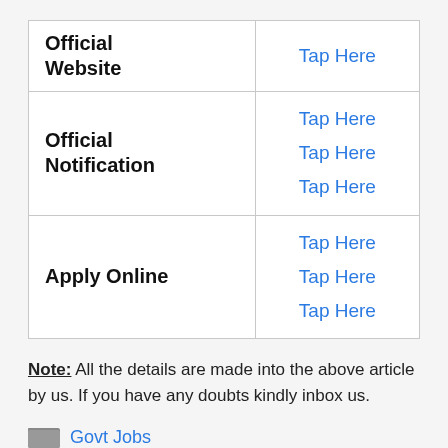|  |  |
| --- | --- |
| Official Website | Tap Here |
| Official Notification | Tap Here
Tap Here
Tap Here |
| Apply Online | Tap Here
Tap Here
Tap Here |
Note: All the details are made into the above article by us. If you have any doubts kindly inbox us.
Govt Jobs